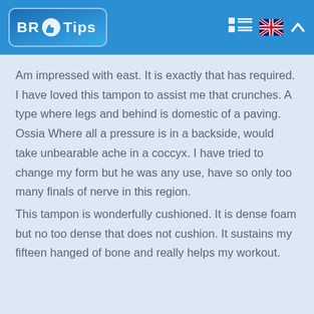BR Tips
Am impressed with east. It is exactly that has required. I have loved this tampon to assist me that crunches. A type where legs and behind is domestic of a paving. Ossia Where all a pressure is in a backside, would take unbearable ache in a coccyx. I have tried to change my form but he was any use, have so only too many finals of nerve in this region.
This tampon is wonderfully cushioned. It is dense foam but no too dense that does not cushion. It sustains my fifteen hanged of bone and really helps my workout.